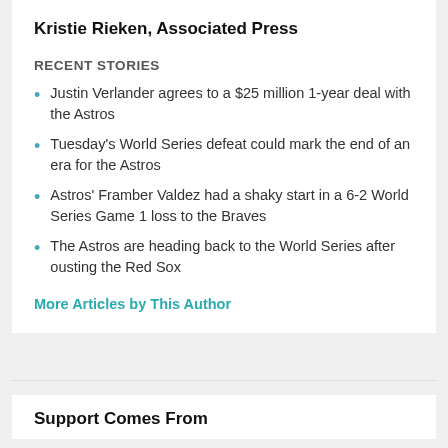Kristie Rieken, Associated Press
RECENT STORIES
Justin Verlander agrees to a $25 million 1-year deal with the Astros
Tuesday's World Series defeat could mark the end of an era for the Astros
Astros' Framber Valdez had a shaky start in a 6-2 World Series Game 1 loss to the Braves
The Astros are heading back to the World Series after ousting the Red Sox
More Articles by This Author
Support Comes From